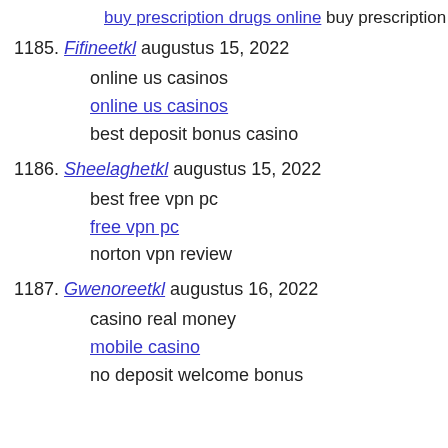buy prescription drugs online buy prescription drugs from can
1185. Fifineetkl augustus 15, 2022
online us casinos
online us casinos
best deposit bonus casino
1186. Sheelaghetkl augustus 15, 2022
best free vpn pc
free vpn pc
norton vpn review
1187. Gwenoreetkl augustus 16, 2022
casino real money
mobile casino
no deposit welcome bonus